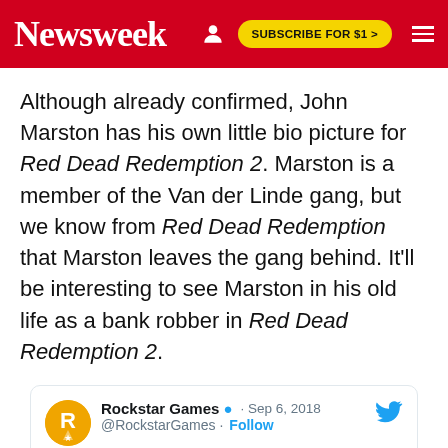Newsweek
Although already confirmed, John Marston has his own little bio picture for Red Dead Redemption 2. Marston is a member of the Van der Linde gang, but we know from Red Dead Redemption that Marston leaves the gang behind. It'll be interesting to see Marston in his old life as a bank robber in Red Dead Redemption 2.
Rockstar Games @RockstarGames · Sep 6, 2018 · Follow · Replying to @RockstarGames · John Marston